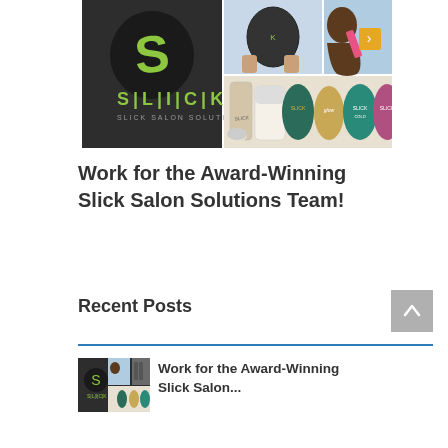[Figure (photo): Collage of Slick Salon Solutions branding and products: logo with dark background and green S, hair products being used, hair tools, and packaged product containers]
Work for the Award-Winning Slick Salon Solutions Team!
Recent Posts
[Figure (photo): Small thumbnail collage of Slick Salon Solutions images for recent post]
Work for the Award-Winning Slick Salon...